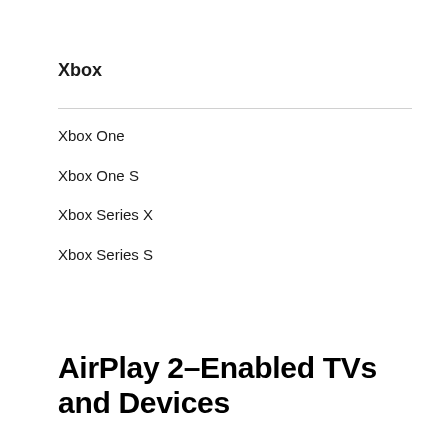Xbox
Xbox One
Xbox One S
Xbox Series X
Xbox Series S
AirPlay 2–Enabled TVs and Devices